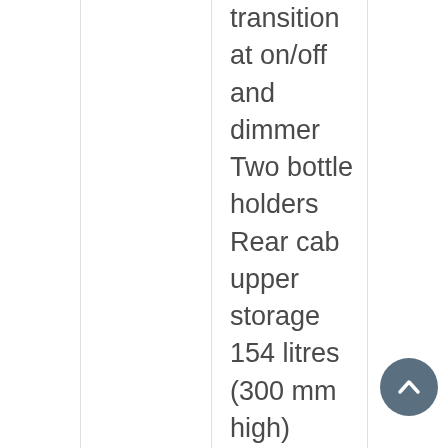transition at on/off and dimmer Two bottle holders Rear cab upper storage 154 litres (300 mm high) Height adjustable top bunk 700x1900 mm, foldable up to 52 degrees to rear wall Cab parking heater, 2 kW Extra shelf in front upper